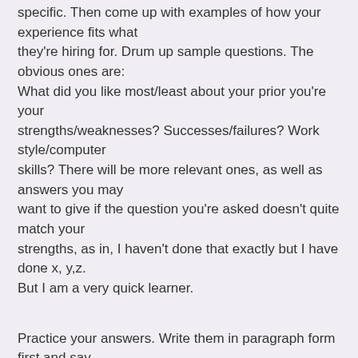specific. Then come up with examples of how your experience fits what they're hiring for. Drum up sample questions. The obvious ones are: What did you like most/least about your prior you're your strengths/weaknesses? Successes/failures? Work style/computer skills? There will be more relevant ones, as well as answers you may want to give if the question you're asked doesn't quite match your strengths, as in, I haven't done that exactly but I have done x, y,z. But I am a very quick learner.
Practice your answers. Write them in paragraph form first and say